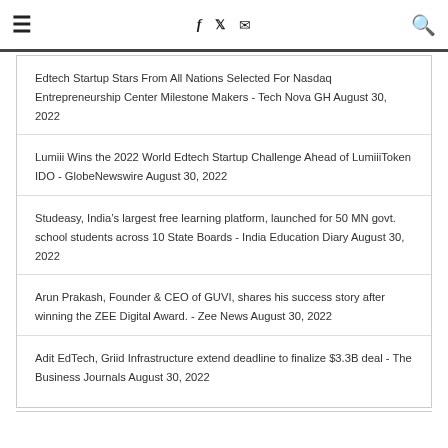Navigation header with hamburger menu, social icons (f, twitter, mail), and search icon
Edtech Startup Stars From All Nations Selected For Nasdaq Entrepreneurship Center Milestone Makers - Tech Nova GH August 30, 2022
Lumiii Wins the 2022 World Edtech Startup Challenge Ahead of LumiiiToken IDO - GlobeNewswire August 30, 2022
Studeasy, India's largest free learning platform, launched for 50 MN govt. school students across 10 State Boards - India Education Diary August 30, 2022
Arun Prakash, Founder & CEO of GUVI, shares his success story after winning the ZEE Digital Award. - Zee News August 30, 2022
Adit EdTech, Griid Infrastructure extend deadline to finalize $3.3B deal - The Business Journals August 30, 2022